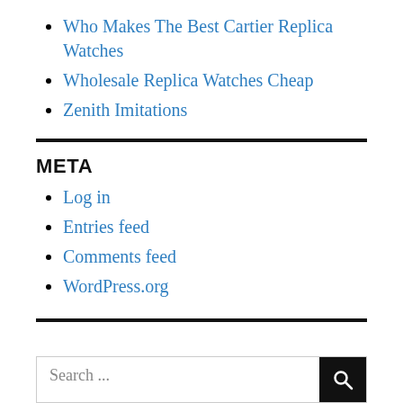Who Makes The Best Cartier Replica Watches
Wholesale Replica Watches Cheap
Zenith Imitations
META
Log in
Entries feed
Comments feed
WordPress.org
Search ...